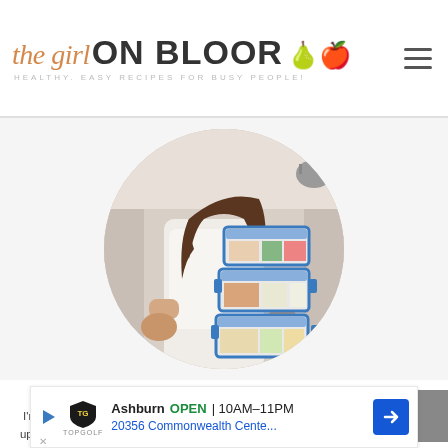[Figure (logo): The Girl On Bloor blog logo with script and sans-serif text, pear icon, tagline 'Healthy, Easy Recipes For Busy People!']
[Figure (photo): Circular cropped photo of a woman in a white t-shirt holding multiple stacked clear glass meal prep containers with blue locking lids, filled with various foods, in a kitchen setting]
OH HEY THERE, WELCOME!!
I'm Taylor Stinson, a busy city girl living in downtown Toronto. Looking to switch up your weekly meal prep routine? I've got you covered with healthy recipes and
[Figure (screenshot): Advertisement banner: Topgolf Ashburn, OPEN 10AM-11PM, 20356 Commonwealth Cente..., with blue navigation arrow button]